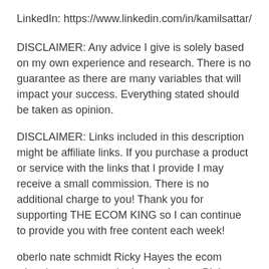LinkedIn: https://www.linkedin.com/in/kamilsattar/
DISCLAIMER: Any advice I give is solely based on my own experience and research. There is no guarantee as there are many variables that will impact your success. Everything stated should be taken as opinion.
DISCLAIMER: Links included in this description might be affiliate links. If you purchase a product or service with the links that I provide I may receive a small commission. There is no additional charge to you! Thank you for supporting THE ECOM KING so I can continue to provide you with free content each week!
oberlo nate schmidt Ricky Hayes the ecom wizard verum ecom the beast of ecom Biaheza Sharif